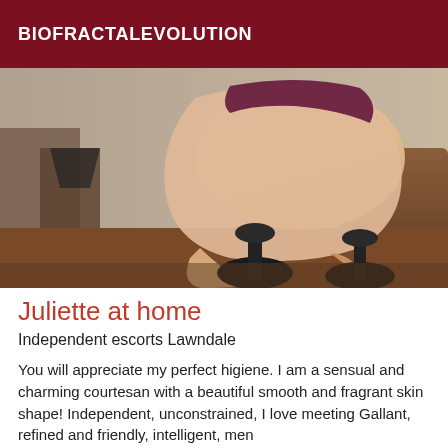BIOFRACTALEVOLUTION
[Figure (photo): A person posing in lingerie and high heels on a leather couch with a lamp in background.]
Juliette at home
Independent escorts Lawndale
You will appreciate my perfect higiene. I am a sensual and charming courtesan with a beautiful smooth and fragrant skin shape! Independent, unconstrained, I love meeting Gallant, refined and friendly, intelligent, men